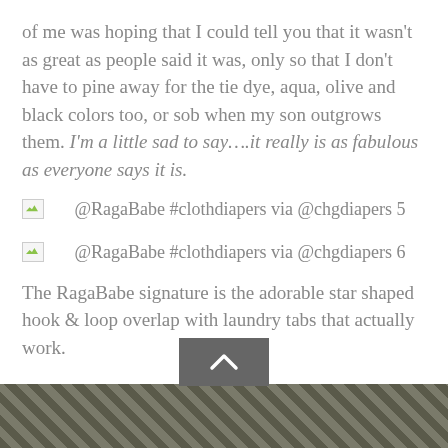of me was hoping that I could tell you that it wasn't as great as people said it was, only so that I don't have to pine away for the tie dye, aqua, olive and black colors too, or sob when my son outgrows them. I'm a little sad to say….it really is as fabulous as everyone says it is.
[Figure (other): Broken image placeholder with link text: @RagaBabe #clothdiapers via @chgdiapers 5]
[Figure (other): Broken image placeholder with link text: @RagaBabe #clothdiapers via @chgdiapers 6]
The RagaBabe signature is the adorable star shaped hook & loop overlap with laundry tabs that actually work.
[Figure (photo): Partially visible photo at the bottom of the page]